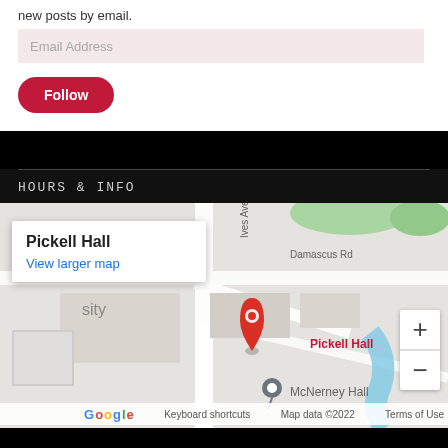new posts by email.
Email Address
Follow
HOURS & INFO
[Figure (map): Google Maps showing Pickell Hall location with a red pin marker. A popup shows 'Pickell Hall' and 'View larger map'. Map also shows Damascus Rd, Ives Ave, McNerney Hall. Zoom controls (+/-) visible on right. Google logo and attribution at bottom.]